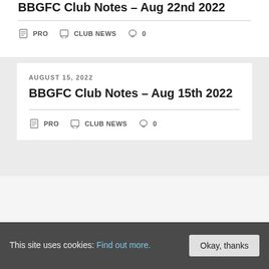BBGFC Club Notes – Aug 22nd 2022
PRO   CLUB NEWS   0
AUGUST 15, 2022
BBGFC Club Notes – Aug 15th 2022
PRO   CLUB NEWS   0
This site uses cookies: Find out more.